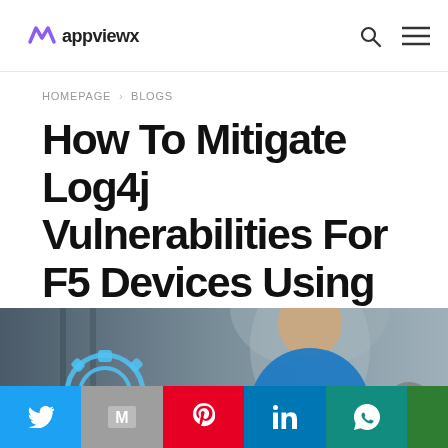AppViewX logo with navigation icons (search, menu)
HOMEPAGE > BLOGS
How To Mitigate Log4j Vulnerabilities For F5 Devices Using ADC+
[Figure (photo): Hero image showing a man smiling while looking at something, with a blue glowing gear/settings icon overlay on the left side]
Social sharing bar with Twitter, Gmail, Pinterest, LinkedIn, WhatsApp icons